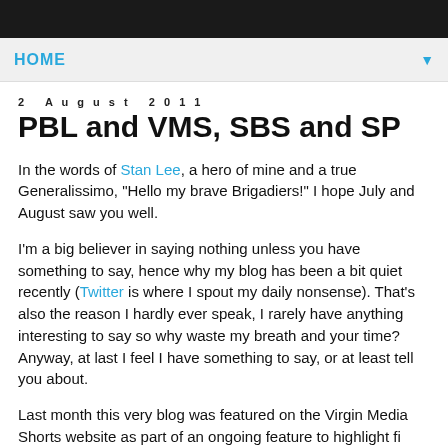HOME
2 August 2011
PBL and VMS, SBS and SP
In the words of Stan Lee, a hero of mine and a true Generalissimo, "Hello my brave Brigadiers!" I hope July and August saw you well.
I'm a big believer in saying nothing unless you have something to say, hence why my blog has been a bit quiet recently (Twitter is where I spout my daily nonsense). That's also the reason I hardly ever speak, I rarely have anything interesting to say so why waste my breath and your time? Anyway, at last I feel I have something to say, or at least tell you about.
Last month this very blog was featured on the Virgin Media Shorts website as part of an ongoing feature to highlight filmmakers with an interest in short form and documentary film...